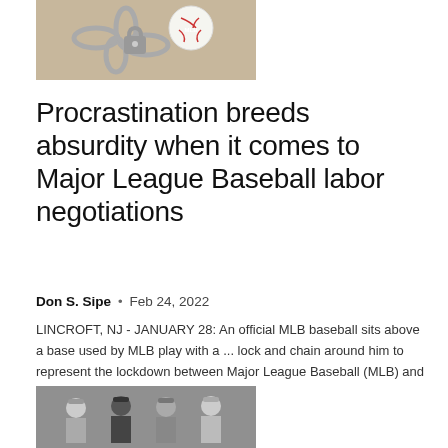[Figure (photo): A baseball with chains and padlock around it, representing MLB lockdown]
Procrastination breeds absurdity when it comes to Major League Baseball labor negotiations
Don S. Sipe  •  Feb 24, 2022
LINCROFT, NJ - JANUARY 28: An official MLB baseball sits above a base used by MLB play with a ... lock and chain around him to represent the lockdown between Major League Baseball (MLB) and the Major League Baseball...
[Figure (photo): Black and white historical photo of baseball players]